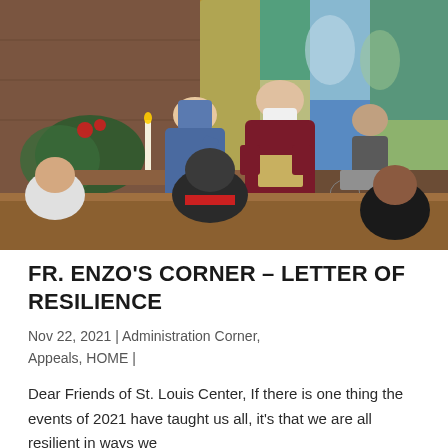[Figure (photo): Indoor church scene with people seated in pews. A priest wearing a dark red/maroon vestment and white face mask stands at the front holding an open book, while another person in a blue shirt stands nearby. Colorful stained glass windows are visible in the background along with Christmas greenery and decorations. Several congregation members are seen from behind in the foreground.]
FR. ENZO'S CORNER – LETTER OF RESILIENCE
Nov 22, 2021 | Administration Corner, Appeals, HOME |
Dear Friends of St. Louis Center, If there is one thing the events of 2021 have taught us all, it's that we are all resilient in ways we